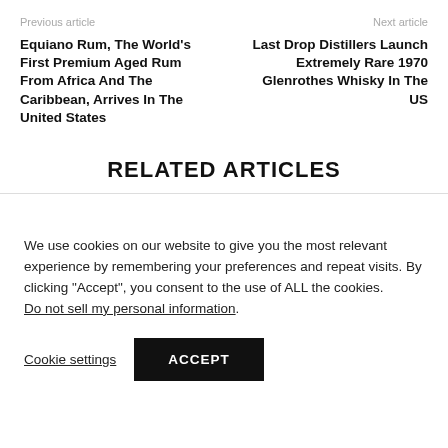Previous article | Next article
Equiano Rum, The World's First Premium Aged Rum From Africa And The Caribbean, Arrives In The United States
Last Drop Distillers Launch Extremely Rare 1970 Glenrothes Whisky In The US
RELATED ARTICLES
We use cookies on our website to give you the most relevant experience by remembering your preferences and repeat visits. By clicking "Accept", you consent to the use of ALL the cookies. Do not sell my personal information.
Cookie settings
ACCEPT